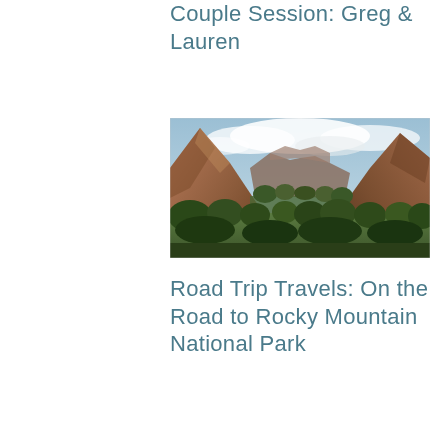Couple Session: Greg & Lauren
[Figure (photo): Landscape photograph of a canyon valley with tall red rock cliffs on both sides, green trees and shrubs in the foreground, and a partly cloudy sky above — likely Zion National Park.]
Road Trip Travels: On the Road to Rocky Mountain National Park